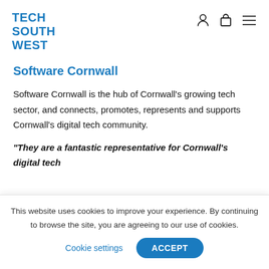TECH SOUTH WEST
Software Cornwall
Software Cornwall is the hub of Cornwall’s growing tech sector, and connects, promotes, represents and supports Cornwall’s digital tech community.
“They are a fantastic representative for Cornwall’s digital tech
This website uses cookies to improve your experience. By continuing to browse the site, you are agreeing to our use of cookies.